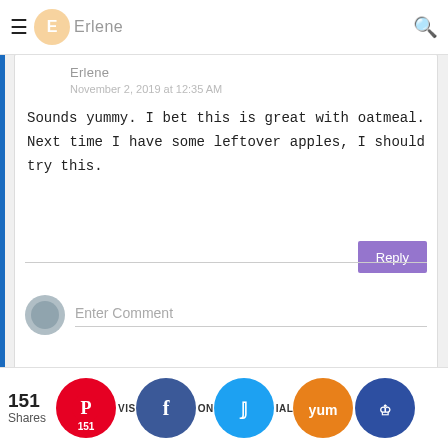Erlene
November 2, 2019 at 12:35 AM
Sounds yummy. I bet this is great with oatmeal. Next time I have some leftover apples, I should try this.
Reply
Enter Comment
BACK TO TOP
151 Shares
VISIT ON SOCIAL